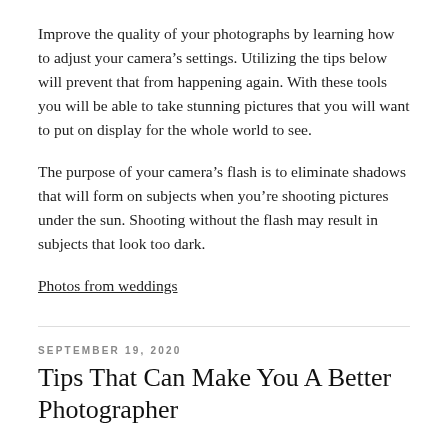Improve the quality of your photographs by learning how to adjust your camera’s settings. Utilizing the tips below will prevent that from happening again. With these tools you will be able to take stunning pictures that you will want to put on display for the whole world to see.
The purpose of your camera’s flash is to eliminate shadows that will form on subjects when you’re shooting pictures under the sun. Shooting without the flash may result in subjects that look too dark.
Photos from weddings
SEPTEMBER 19, 2020
Tips That Can Make You A Better Photographer